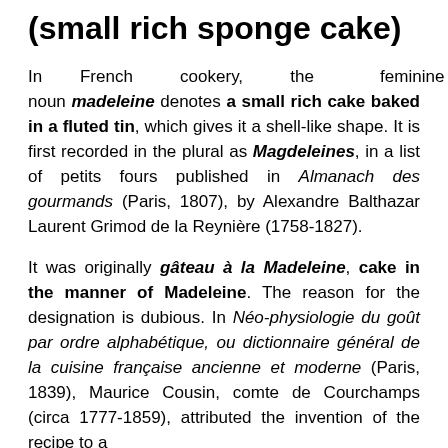(small rich sponge cake)
In French cookery, the feminine noun madeleine denotes a small rich cake baked in a fluted tin, which gives it a shell-like shape. It is first recorded in the plural as Magdeleines, in a list of petits fours published in Almanach des gourmands (Paris, 1807), by Alexandre Balthazar Laurent Grimod de la Reynière (1758-1827).
It was originally gâteau à la Madeleine, cake in the manner of Madeleine. The reason for the designation is dubious. In Néo-physiologie du goût par ordre alphabétique, ou dictionnaire général de la cuisine française ancienne et moderne (Paris, 1839), Maurice Cousin, comte de Courchamps (circa 1777-1859), attributed the invention of the recipe to a